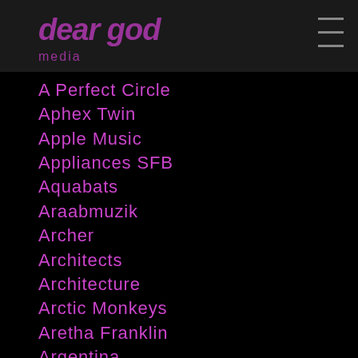dear god
A Perfect Circle
Aphex Twin
Apple Music
Appliances SFB
Aquabats
Araabmuzik
Archer
Architects
Architecture
Arctic Monkeys
Aretha Franklin
Argentina
Ari Up
Arnold Schoenberg
ARP 2600
Art Alexakis
Art Blakey